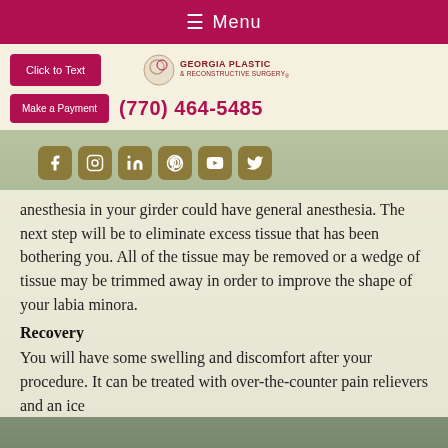☰  Menu
[Figure (logo): Georgia Plastic & Reconstructive Surgery logo with circular emblem]
anesthesia in your girder could have general anesthesia. The next step will be to eliminate excess tissue that has been bothering you. All of the tissue may be removed or a wedge of tissue may be trimmed away in order to improve the shape of your labia minora.
Recovery
You will have some swelling and discomfort after your procedure. It can be treated with over-the-counter pain relievers and an ice...